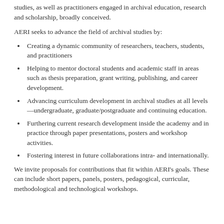studies, as well as practitioners engaged in archival education, research and scholarship, broadly conceived.
AERI seeks to advance the field of archival studies by:
Creating a dynamic community of researchers, teachers, students, and practitioners
Helping to mentor doctoral students and academic staff in areas such as thesis preparation, grant writing, publishing, and career development.
Advancing curriculum development in archival studies at all levels—undergraduate, graduate/postgraduate and continuing education.
Furthering current research development inside the academy and in practice through paper presentations, posters and workshop activities.
Fostering interest in future collaborations intra- and internationally.
We invite proposals for contributions that fit within AERI's goals. These can include short papers, panels, posters, pedagogical, curricular, methodological and technological workshops.